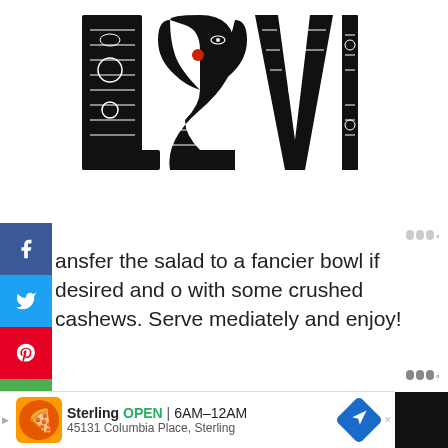[Figure (illustration): Black and white decorative LOVE text art with intricate face/pattern designs inside each letter, centered at the top of the page]
ansfer the salad to a fancier bowl if desired and o with some crushed cashews. Serve mediately and enjoy!
[Figure (photo): Dark overhead photo of a bowl with green vegetables (broccoli, bok choy) on a dark background]
[Figure (other): Advertisement banner: Sterling restaurant, OPEN 6AM-12AM, 45131 Columbia Place, Sterling]